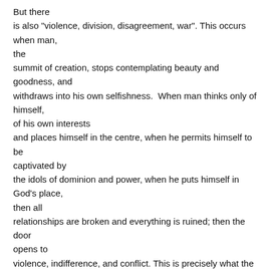But there is also "violence, division, disagreement, war". This occurs when man, the summit of creation, stops contemplating beauty and goodness, and withdraws into his own selfishness. When man thinks only of himself, of his own interests and places himself in the centre, when he permits himself to be captivated by the idols of dominion and power, when he puts himself in God's place, then all relationships are broken and everything is ruined; then the door opens to violence, indifference, and conflict. This is precisely what the passage in the Book of Genesis seeks to teach us in the story of the Fall: man enters into conflict with himself, he realizes that he is naked and he hides himself because he is afraid (cf. Gen 3: 10), he is afraid of God's glance; he accuses the woman, she who is flesh of his flesh (cf. v. 12); he breaks harmony with